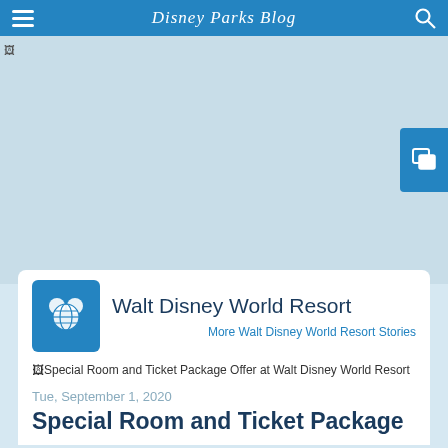Disney Parks Blog
[Figure (photo): Hero image area - light blue placeholder, image failed to load]
Walt Disney World Resort
More Walt Disney World Resort Stories
[Figure (photo): Special Room and Ticket Package Offer at Walt Disney World Resort - broken image]
Tue, September 1, 2020
Special Room and Ticket Package